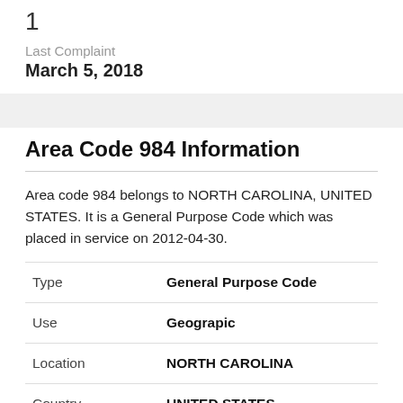1
Last Complaint
March 5, 2018
Area Code 984 Information
Area code 984 belongs to NORTH CAROLINA, UNITED STATES. It is a General Purpose Code which was placed in service on 2012-04-30.
|  |  |
| --- | --- |
| Type | General Purpose Code |
| Use | Geograpic |
| Location | NORTH CAROLINA |
| Country | UNITED STATES |